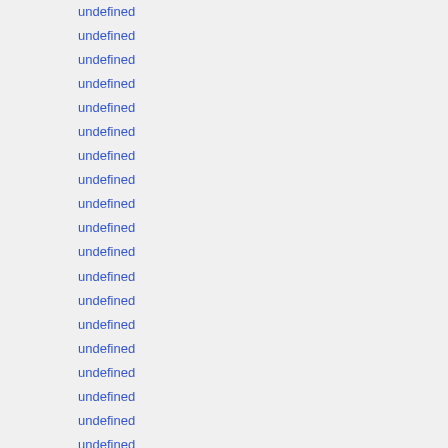undefined
undefined
undefined
undefined
undefined
undefined
undefined
undefined
undefined
undefined
undefined
undefined
undefined
undefined
undefined
undefined
undefined
undefined
undefined
undefined
undefined
undefined
undefined